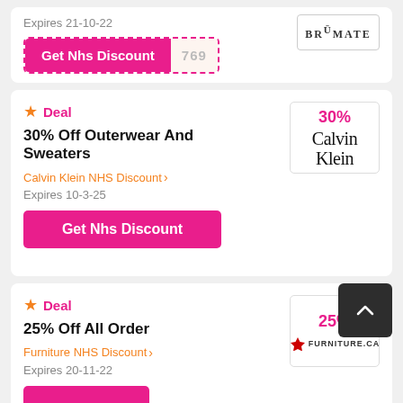[Figure (other): BrüMate logo in bordered box]
Expires 21-10-22
Get Nhs Discount 769
Deal
30% Off Outerwear And Sweaters
Calvin Klein NHS Discount
Expires 10-3-25
[Figure (logo): Calvin Klein logo with 30% label]
Get Nhs Discount
Deal
25% Off All Order
Furniture NHS Discount
Expires 20-11-22
[Figure (logo): Furniture.ca logo with 25% label]